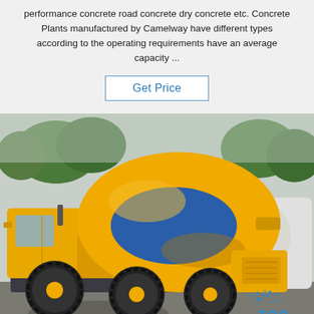performance concrete road concrete dry concrete etc. Concrete Plants manufactured by Camelway have different types according to the operating requirements have an average capacity ...
Get Price
[Figure (photo): A yellow self-loading concrete mixer truck with a large orange/yellow drum and blue stripe, photographed outdoors in a yard with trees in the background. Another white mixer truck is partially visible on the right. The image has a 'TOP' watermark with water droplet graphics in the bottom right corner.]